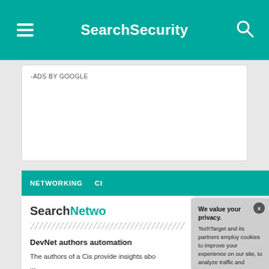SearchSecurity
-ADS BY GOOGLE
NETWORKING CI...
SearchNetwo...
DevNet authors... automation
The authors of a Cis... provide insights abo... ...
We value your privacy. TechTarget and its partners employ cookies to improve your experience on our site, to analyze traffic and performance, and to serve personalized content and advertising that are relevant to your professional interests. You can manage your settings at any time. Please view our Privacy Policy for more information